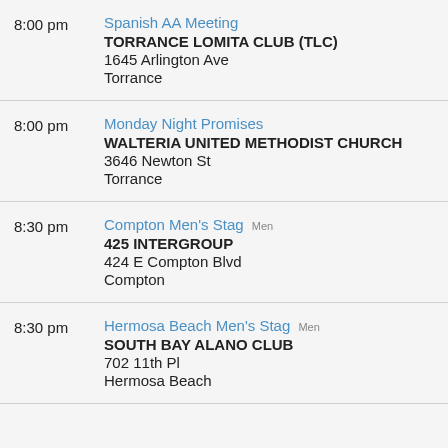8:00 pm | Spanish AA Meeting | TORRANCE LOMITA CLUB (TLC) | 1645 Arlington Ave | Torrance
8:00 pm | Monday Night Promises | WALTERIA UNITED METHODIST CHURCH | 3646 Newton St | Torrance
8:30 pm | Compton Men's Stag Men | 425 INTERGROUP | 424 E Compton Blvd | Compton
8:30 pm | Hermosa Beach Men's Stag Men | SOUTH BAY ALANO CLUB | 702 11th Pl | Hermosa Beach